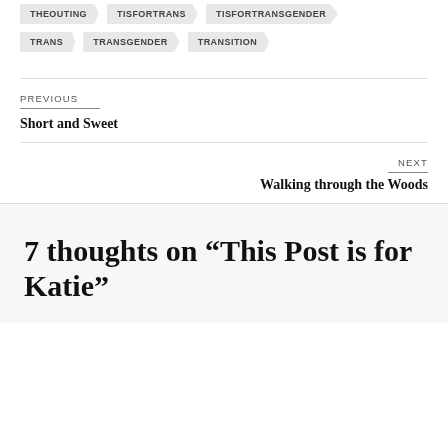THEOUTING TISFORTRANS TISFORTRANSGENDER
TRANS TRANSGENDER TRANSITION
PREVIOUS
Short and Sweet
NEXT
Walking through the Woods
7 thoughts on “This Post is for Katie”